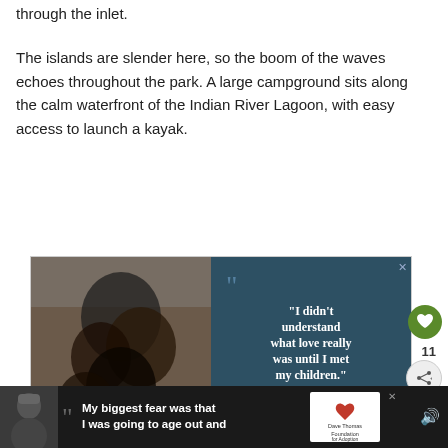through the inlet.
The islands are slender here, so the boom of the waves echoes throughout the park. A large campground sits along the calm waterfront of the Indian River Lagoon, with easy access to launch a kayak.
[Figure (photo): Advertisement showing a family photo on the left with a dark teal background on the right displaying a quote: "I didn't understand what love really was until I met my children." — Mom, adopted siblings. Close button (X) in top right corner.]
[Figure (photo): Bottom banner advertisement showing a person in a beanie hat, large quotation mark, text 'My biggest fear was that I was going to age out and', Dave Thomas Foundation for Adoption logo, and a close button.]